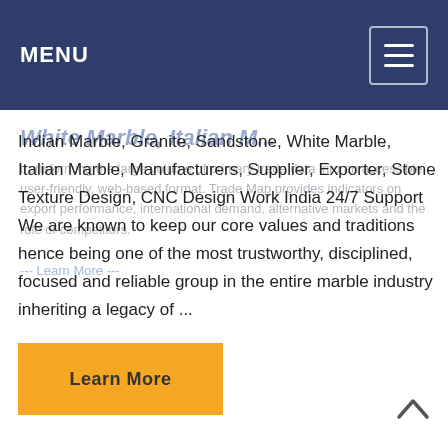MENU
White Marble, Italian M...
transforming the large volume of primary trade data into an accessible, user-friendly, web-based format. Trade Map provides indicators on export performance, international demand, alternative markets and the role of competitors.
Indian Marble, Granite, Sandstone, White Marble, Italian Marble, Manufacturers, Supplier, Exporter, Stone Texture Design, CNC Design Work India 24/7 Support We are known to keep our core values and traditions hence being one of the most trustworthy, disciplined, focused and reliable group in the entire marble industry inheriting a legacy of ...
Learn More
Learn More